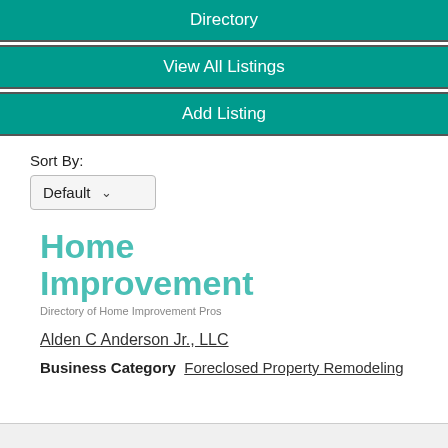Directory
View All Listings
Add Listing
Sort By:
Default
[Figure (logo): Home Improvement logo with tagline 'Directory of Home Improvement Pros']
Alden C Anderson Jr., LLC
Business Category   Foreclosed Property Remodeling